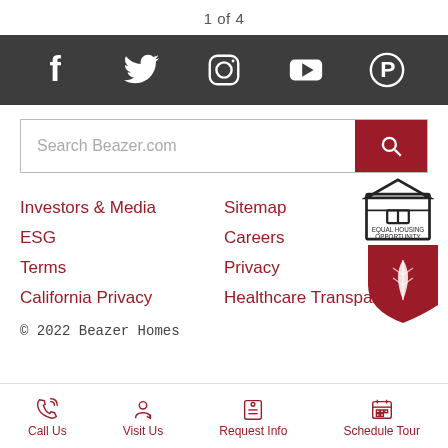1 of 4
[Figure (infographic): Dark grey social media bar with white icons for Facebook, Twitter, Instagram, YouTube, and Pinterest]
[Figure (infographic): Search bar with placeholder text 'Search Beazer.com' and a dark red search button with magnifying glass icon]
Investors & Media
Sitemap
ESG
Careers
Terms
Privacy
California Privacy
Healthcare Transparency
[Figure (logo): Equal Housing Opportunity logo badge]
[Figure (logo): Beazer Homes leaf logo in dark red speech bubble]
© 2022 Beazer Homes
[Figure (infographic): Bottom navigation bar with Call Us, Visit Us, Request Info, and Schedule Tour options in dark red]